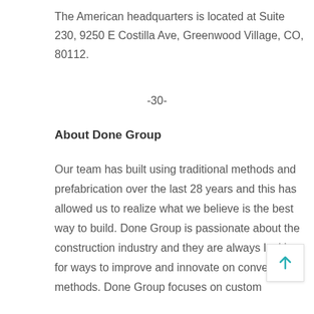The American headquarters is located at Suite 230, 9250 E Costilla Ave, Greenwood Village, CO, 80112.
-30-
About Done Group
Our team has built using traditional methods and prefabrication over the last 28 years and this has allowed us to realize what we believe is the best way to build. Done Group is passionate about the construction industry and they are always looking for ways to improve and innovate on conventional methods. Done Group focuses on custom